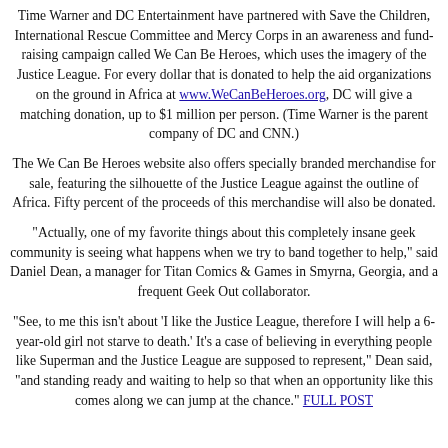Time Warner and DC Entertainment have partnered with Save the Children, International Rescue Committee and Mercy Corps in an awareness and fund-raising campaign called We Can Be Heroes, which uses the imagery of the Justice League. For every dollar that is donated to help the aid organizations on the ground in Africa at www.WeCanBeHeroes.org, DC will give a matching donation, up to $1 million per person. (Time Warner is the parent company of DC and CNN.)
The We Can Be Heroes website also offers specially branded merchandise for sale, featuring the silhouette of the Justice League against the outline of Africa. Fifty percent of the proceeds of this merchandise will also be donated.
"Actually, one of my favorite things about this completely insane geek community is seeing what happens when we try to band together to help," said Daniel Dean, a manager for Titan Comics & Games in Smyrna, Georgia, and a frequent Geek Out collaborator.
"See, to me this isn't about 'I like the Justice League, therefore I will help a 6-year-old girl not starve to death.' It's a case of believing in everything people like Superman and the Justice League are supposed to represent," Dean said, "and standing ready and waiting to help so that when an opportunity like this comes along we can jump at the chance." FULL POST